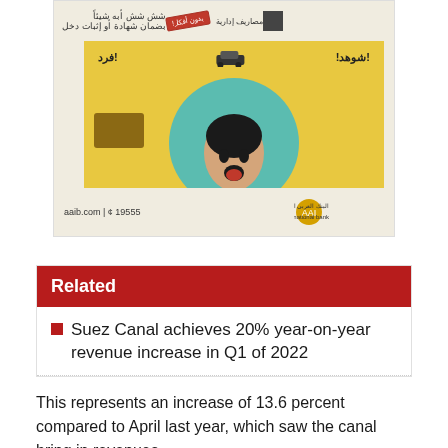[Figure (illustration): Advertisement for Arab African International Bank (AAIB) showing a surprised woman's face with Arabic text, a yellow background, teal circle, car icon, and brown shapes. Footer shows aaib.com | 19555 and bank logo.]
Related
Suez Canal achieves 20% year-on-year revenue increase in Q1 of 2022
This represents an increase of 13.6 percent compared to April last year, which saw the canal bring in revenues